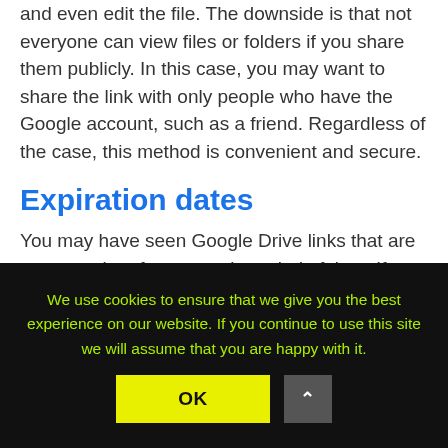and even edit the file. The downside is that not everyone can view files or folders if you share them publicly. In this case, you may want to share the link with only people who have the Google account, such as a friend. Regardless of the case, this method is convenient and secure.
Expiration dates
You may have seen Google Drive links that are set to expire after a certain period of time. If you don't want to share files with people who may have forgotten to remove the link, you can specify when
We use cookies to ensure that we give you the best experience on our website. If you continue to use this site we will assume that you are happy with it.
OK